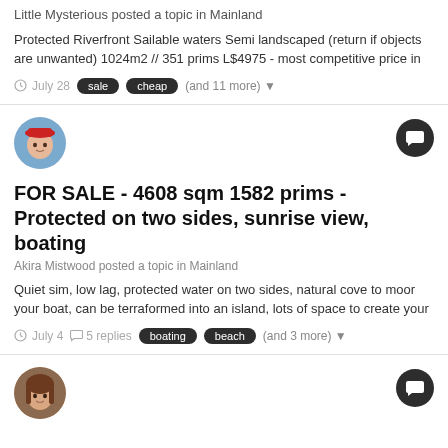Little Mysterious posted a topic in Mainland
Protected Riverfront Sailable waters Semi landscaped (return if objects are unwanted) 1024m2 // 351 prims L$4975 - most competitive price in
July 28   sale   cheap   (and 11 more)
[Figure (photo): Avatar portrait with red hat]
FOR SALE - 4608 sqm 1582 prims - Protected on two sides, sunrise view, boating
Akira Mistwood posted a topic in Mainland
Quiet sim, low lag, protected water on two sides, natural cove to moor your boat, can be terraformed into an island, lots of space to create your
July 4   5 replies   boating   beach   (and 3 more)
[Figure (photo): Female avatar portrait]